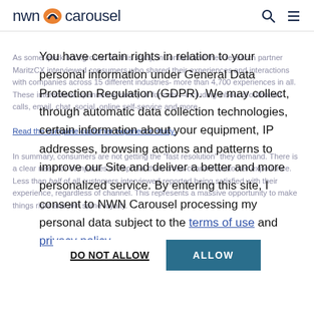nwn carousel
As some quick background for this study, inContact and their research partner MaritzCX interviewed consumers who shared their experiences and interactions with companies across 15 different industries- more than 4,700 experiences in all. These interactions spanned a variety of formats—including inbound/outbound calls, email, chat, social, online self-service and more.
You have certain rights in relation to your personal information under General Data Protection Regulation (GDPR). We may collect, through automatic data collection technologies, certain information about your equipment, IP addresses, browsing actions and patterns to improve our Site and deliver a better and more personalized service. By entering this site, I consent to NWN Carousel processing my personal data subject to the terms of use and privacy policy.
Read the complete customer experience study.
In summary, consumers are not getting the "fast resolution" they demand. There is a clear need for companies to improve their cross-channel customer experience. Less than half of all customers interviewed reported being satisfied with their experience, regardless of channel. This represents a massive opportunity to make things right and win some loyalty.
DO NOT ALLOW    ALLOW